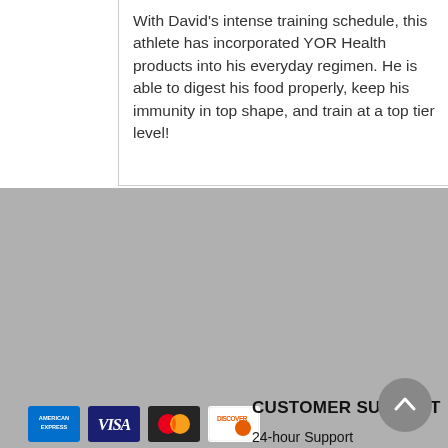With David's intense training schedule, this athlete has incorporated YOR Health products into his everyday regimen. He is able to digest his food properly, keep his immunity in top shape, and train at a top tier level!
[Figure (logo): Payment method icons: American Express, Visa, Mastercard, Discover]
CONTACT US
CustomerCare@yorcorp.com
Refund Hotline:
877.887.0967
CUSTOMER SUPPORT
24-hour Support
Privacy Notice
Legal
Refund Policy
Feedback
YOR BEST BODY
PRODUCT REGIMEN